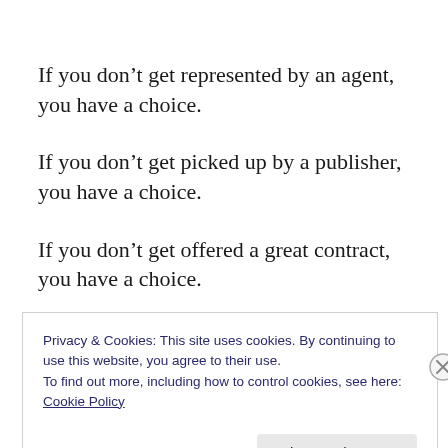If you don’t get represented by an agent, you have a choice.
If you don’t get picked up by a publisher, you have a choice.
If you don’t get offered a great contract, you have a choice.
Privacy & Cookies: This site uses cookies. By continuing to use this website, you agree to their use.
To find out more, including how to control cookies, see here: Cookie Policy
Close and accept